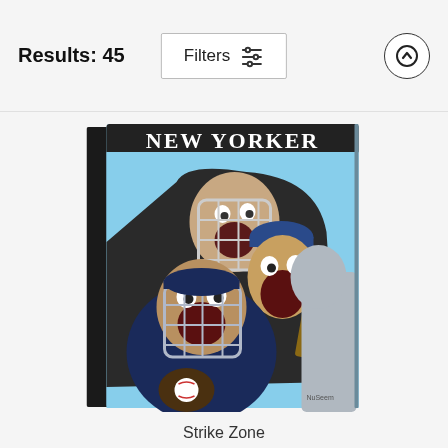Results: 45
Filters
[Figure (illustration): New Yorker magazine cover titled 'Strike Zone' showing cartoon caricatures of baseball players and an umpire with exaggerated screaming expressions. A catcher in navy gear with face mask is in the foreground, an umpire in black suit and another player wearing a Boston Red Sox cap are behind, all with mouths wide open. Light blue background.]
Strike Zone